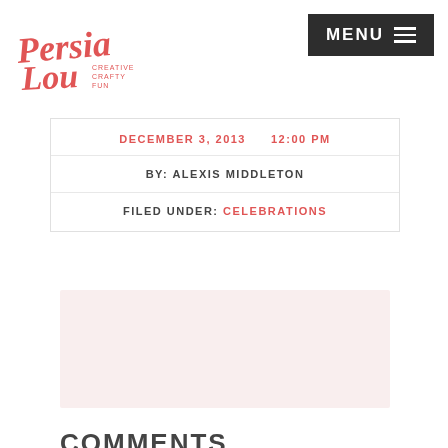Persia Lou — Creative Crafty Fun | MENU
DECEMBER 3, 2013   12:00 PM
BY: ALEXIS MIDDLETON
FILED UNDER: CELEBRATIONS
[Figure (other): Light pink advertisement placeholder box]
COMMENTS
[Figure (other): Light pink comment box placeholder]